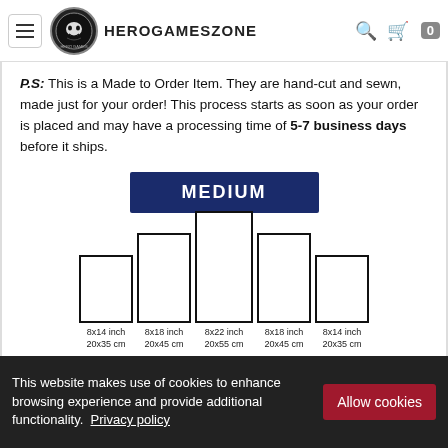HeroGamesZone
P.S: This is a Made to Order Item. They are hand-cut and sewn, made just for your order! This process starts as soon as your order is placed and may have a processing time of 5-7 business days before it ships.
[Figure (infographic): Size comparison diagram showing 5 rectangular panels of different heights labeled MEDIUM. From left to right: 8x14 inch / 20x35 cm, 8x18 inch / 20x45 cm, 8x22 inch / 20x55 cm (tallest, center), 8x18 inch / 20x45 cm, 8x14 inch / 20x35 cm. A dark blue badge above reads MEDIUM.]
This website makes use of cookies to enhance browsing experience and provide additional functionality. Privacy policy
Allow cookies